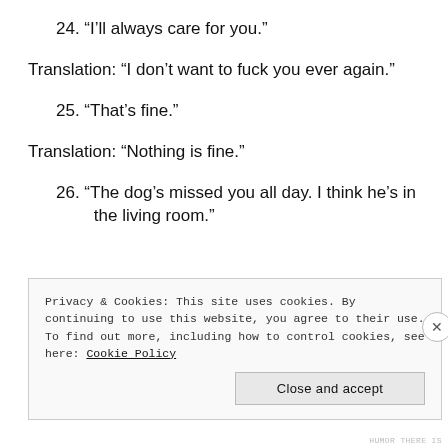24. “I’ll always care for you.”
Translation: “I don’t want to fuck you ever again.”
25. “That’s fine.”
Translation: “Nothing is fine.”
26. “The dog’s missed you all day. I think he’s in the living room.”
Privacy & Cookies: This site uses cookies. By continuing to use this website, you agree to their use.
To find out more, including how to control cookies, see here: Cookie Policy
Close and accept